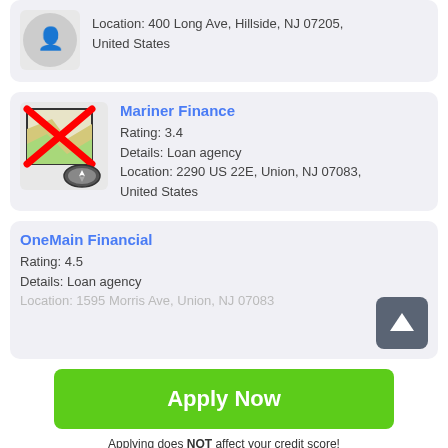Location: 400 Long Ave, Hillside, NJ 07205, United States
[Figure (logo): Mariner Finance map icon with red X overlay]
Mariner Finance
Rating: 3.4
Details: Loan agency
Location: 2290 US 22E, Union, NJ 07083, United States
OneMain Financial
Rating: 4.5
Details: Loan agency
Location: 1595 Morris Ave, Union, NJ 07083
Apply Now
Applying does NOT affect your credit score!
No credit check to apply.